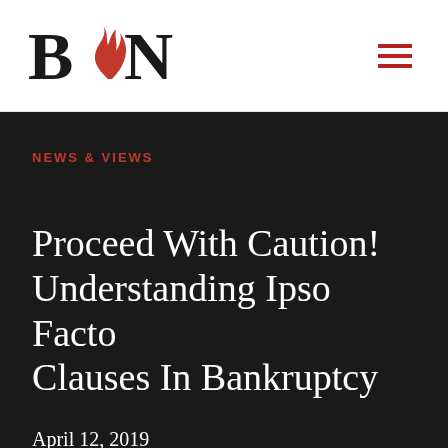[Figure (logo): Barron & Newburger, P.C. law firm logo with stylized B and N letters and a red flame/leaf icon, with firm name below]
NEWS & VIEWS
Proceed With Caution! Understanding Ipso Facto Clauses In Bankruptcy
April 12, 2019